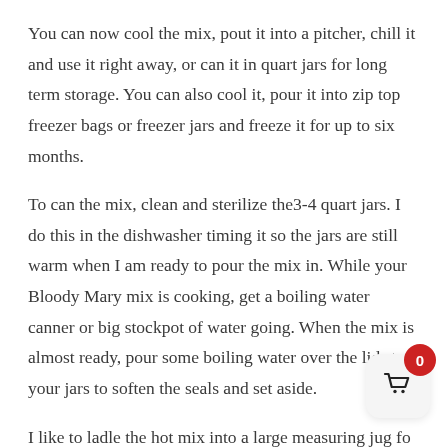You can now cool the mix, pout it into a pitcher, chill it and use it right away, or can it in quart jars for long term storage. You can also cool it, pour it into zip top freezer bags or freezer jars and freeze it for up to six months.
To can the mix, clean and sterilize the3-4 quart jars. I do this in the dishwasher timing it so the jars are still warm when I am ready to pour the mix in. While your Bloody Mary mix is cooking, get a boiling water canner or big stockpot of water going. When the mix is almost ready, pour some boiling water over the lids to your jars to soften the seals and set aside.
I like to ladle the hot mix into a large measuring jug fo easy pouring. Fill each of your warm, cleaned jars with the